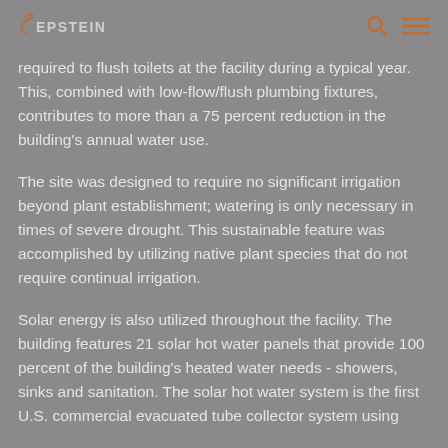EPSTEIN
required to flush toilets at the facility during a typical year. This, combined with low-flow/flush plumbing fixtures, contributes to more than a 75 percent reduction in the building's annual water use.
The site was designed to require no significant irrigation beyond plant establishment; watering is only necessary in times of severe drought. This sustainable feature was accomplished by utilizing native plant species that do not require continual irrigation.
Solar energy is also utilized throughout the facility. The building features 21 solar hot water panels that provide 100 percent of the building's heated water needs - showers, sinks and sanitation. The solar hot water system is the first U.S. commercial evacuated tube collector system using